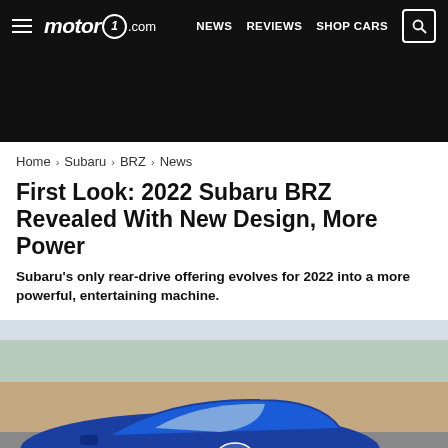motor1.com — NEWS  REVIEWS  SHOP CARS
[Figure (other): Dark advertisement banner block]
Home > Subaru > BRZ > News
First Look: 2022 Subaru BRZ Revealed With New Design, More Power
Subaru's only rear-drive offering evolves for 2022 into a more powerful, entertaining machine.
[Figure (photo): Front three-quarter view of a blue 2022 Subaru BRZ sports car driving with palm trees in background]